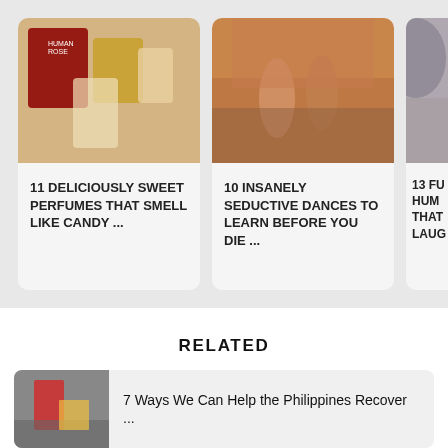[Figure (photo): Card: perfume bottles on white background with gold and red tones]
11 DELICIOUSLY SWEET PERFUMES THAT SMELL LIKE CANDY ...
[Figure (photo): Card: two people dancing in a desert landscape with red rock formations]
10 INSANELY SEDUCTIVE DANCES TO LEARN BEFORE YOU DIE ...
[Figure (photo): Card: partial view, person with dark hair, partially cropped]
13 FU... HUM... THAT... LAUG...
RELATED
[Figure (photo): Thumbnail: person in red top on city street]
7 Ways We Can Help the Philippines Recover ...
[Figure (photo): Thumbnail: indoor scene, partially visible]
7 Crucial Life Skills All of Us Need to Have